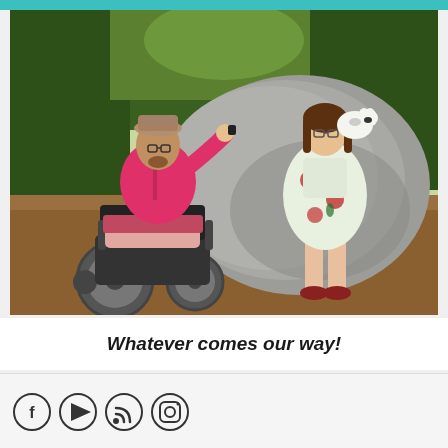[Figure (photo): Two people posing outdoors in a park next to a large boulder. On the left, a person wearing a pink blazer, patterned shirt, and plaid hat sits in a motorized wheelchair, holding up what appears to be a small object. On the right, a woman in a floral dress holds a small white and black dog, leaning against the rock. Trees and a dirt ground are visible in the background.]
Whatever comes our way!
[Figure (other): Social media icons row: Facebook, YouTube, RSS feed, and Instagram icons. To the right, a back-to-top button widget with hamburger menu lines and an upward chevron arrow in teal.]